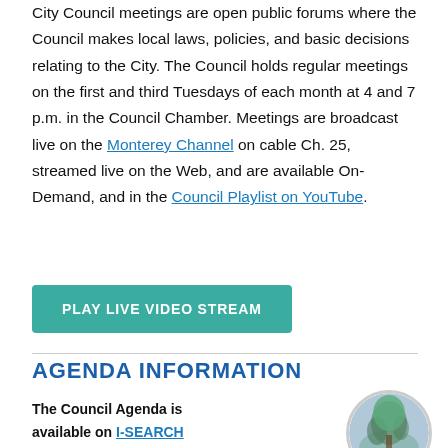City Council meetings are open public forums where the Council makes local laws, policies, and basic decisions relating to the City. The Council holds regular meetings on the first and third Tuesdays of each month at 4 and 7 p.m. in the Council Chamber. Meetings are broadcast live on the Monterey Channel on cable Ch. 25, streamed live on the Web, and are available On-Demand, and in the Council Playlist on YouTube.
[Figure (other): Green teal button labeled PLAY LIVE VIDEO STREAM]
AGENDA INFORMATION
The Council Agenda is available on I-SEARCH
[Figure (photo): Circular photo showing a tree or nature scene]